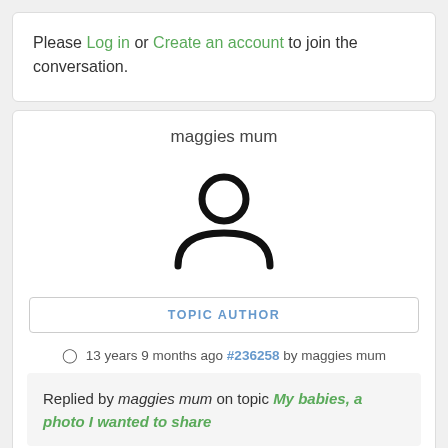Please Log in or Create an account to join the conversation.
maggies mum
[Figure (illustration): Generic user avatar icon — circle for head, half-circle for body/shoulders, black outline style]
TOPIC AUTHOR
13 years 9 months ago #236258 by maggies mum
Replied by maggies mum on topic My babies, a photo I wanted to share
Actually Yakut that was about the 3rd time I'd called them up onto that little platform, we were